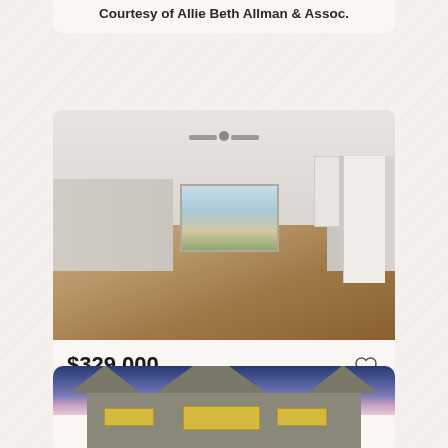2405 Edinburgh Drive, CROWLEY, TX
Courtesy of Allie Beth Allman & Assoc.
[Figure (photo): Interior photo of empty living room with hardwood floors, ceiling fan, sliding glass door to backyard, white walls]
$329,000
3 bd, 2 full ba, 1,314 sqft
202 Maverick Trail, OAK POINT, TX
Courtesy of Coldwell Banker Realty
[Figure (photo): Exterior photo of house at twilight/dusk with blue-purple sky, beige/gray siding, lit windows]